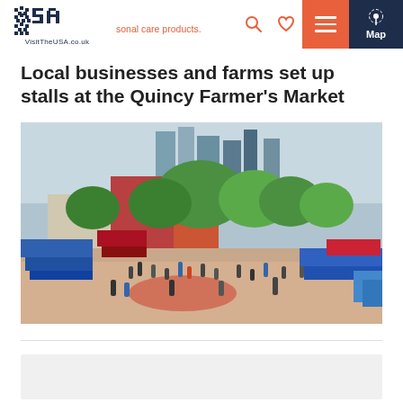VisitTheUSA.co.uk — header with logo, search, heart, menu, and map buttons
has a variety of activities for children, live mu... sonal care products.
Local businesses and farms set up stalls at the Quincy Farmer's Market
[Figure (photo): Aerial/wide-angle view of Quincy Market in Boston, showing a busy outdoor plaza with crowds of people, market stalls with blue and red canopies, lush green trees, historic brick buildings, and modern skyscrapers in the background under a partly cloudy sky.]